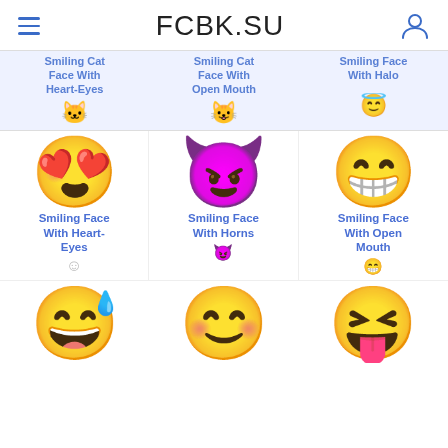FCBK.SU
Smiling Cat Face With Heart-Eyes
Smiling Cat Face With Open Mouth
Smiling Face With Halo
[Figure (illustration): Heart-eyes emoji (yellow smiling face with heart-shaped eyes)]
Smiling Face With Heart-Eyes
[Figure (illustration): Devil emoji (red smiling face with horns)]
Smiling Face With Horns
[Figure (illustration): Grinning face emoji (yellow smiling face with open mouth)]
Smiling Face With Open Mouth
[Figure (illustration): Cold sweat laughing emoji (bottom row left)]
[Figure (illustration): Smiling emoji (bottom row center)]
[Figure (illustration): Squinting emoji (bottom row right)]